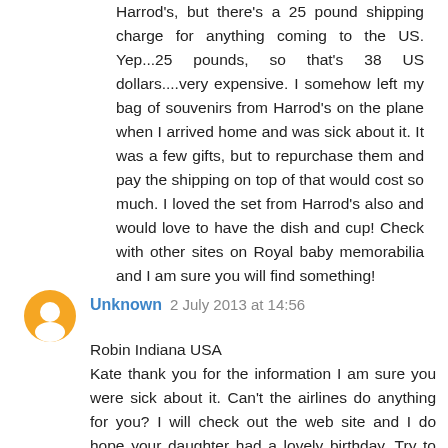Harrod's, but there's a 25 pound shipping charge for anything coming to the US. Yep...25 pounds, so that's 38 US dollars....very expensive. I somehow left my bag of souvenirs from Harrod's on the plane when I arrived home and was sick about it. It was a few gifts, but to repurchase them and pay the shipping on top of that would cost so much. I loved the set from Harrod's also and would love to have the dish and cup! Check with other sites on Royal baby memorabilia and I am sure you will find something!
Unknown 2 July 2013 at 14:56
Robin Indiana USA
Kate thank you for the information I am sure you were sick about it. Can't the airlines do anything for you? I will check out the web site and I do hope your daughter had a lovely birthday. Try to stay cool for we have another day of rain and cool temps. Have not had a chance to enjoy my small pool this year bummer. On a brighter side